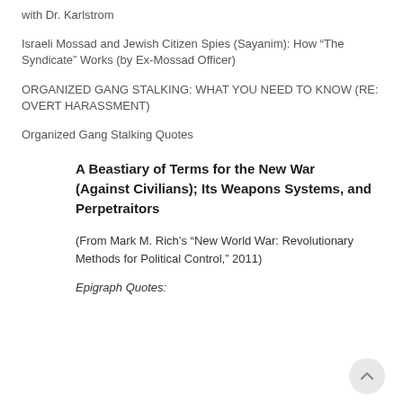with Dr. Karlstrom
Israeli Mossad and Jewish Citizen Spies (Sayanim): How “The Syndicate” Works (by Ex-Mossad Officer)
ORGANIZED GANG STALKING: WHAT YOU NEED TO KNOW (RE: OVERT HARASSMENT)
Organized Gang Stalking Quotes
A Beastiary of Terms for the New War (Against Civilians); Its Weapons Systems, and Perpetraitors
(From Mark M. Rich’s “New World War: Revolutionary Methods for Political Control,” 2011)
Epigraph Quotes: